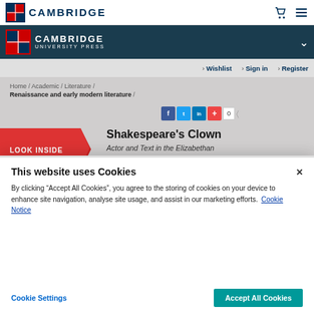[Figure (logo): Cambridge crest logo with CAMBRIDGE wordmark in top white nav bar]
[Figure (logo): Cambridge University Press logo on dark teal background]
Wishlist   Sign in   Register
Home / Academic / Literature / Renaissance and early modern literature /
[Figure (other): Social sharing buttons: Facebook, Twitter, LinkedIn, plus button, counter showing 0]
[Figure (other): LOOK INSIDE badge in red with orange triangle accent]
Shakespeare's Clown
Actor and Text in the Elizabethan
This website uses Cookies

By clicking “Accept All Cookies”, you agree to the storing of cookies on your device to enhance site navigation, analyse site usage, and assist in our marketing efforts. Cookie Notice
Cookie Settings
Accept All Cookies